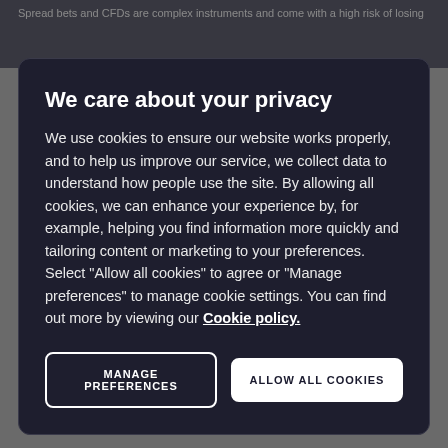Spread bets and CFDs are complex instruments and come with a high risk of losing
We care about your privacy
We use cookies to ensure our website works properly, and to help us improve our service, we collect data to understand how people use the site. By allowing all cookies, we can enhance your experience by, for example, helping you find information more quickly and tailoring content or marketing to your preferences. Select “Allow all cookies” to agree or “Manage preferences” to manage cookie settings. You can find out more by viewing our Cookie policy.
MANAGE PREFERENCES
ALLOW ALL COOKIES
mood takes you.
As we look towards today’s October retail sales